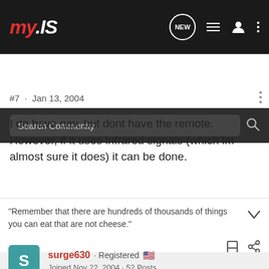my.IS
Search Community
#7 · Jan 13, 2004
I do have nav, but dont have the remote. However, if it uses infrared signals (which im almost sure it does) it can be done.
“Remember that there are hundreds of thousands of things you can eat that are not cheese.”
surge630 · Registered
Joined Nov 22, 2004 · 52 Posts